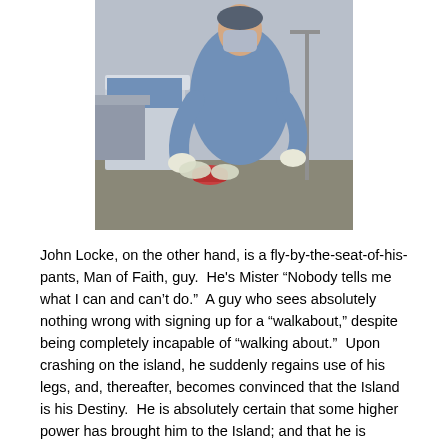[Figure (photo): A medical scene showing a person in a blue surgical gown treating or examining another person's hand/wrist in what appears to be a hospital or clinic setting.]
John Locke, on the other hand, is a fly-by-the-seat-of-his-pants, Man of Faith, guy.  He's Mister “Nobody tells me what I can and can’t do.”  A guy who sees absolutely nothing wrong with signing up for a “walkabout,” despite being completely incapable of “walking about.”  Upon crashing on the island, he suddenly regains use of his legs, and, thereafter, becomes convinced that the Island is his Destiny.  He is absolutely certain that some higher power has brought him to the Island; and that he is